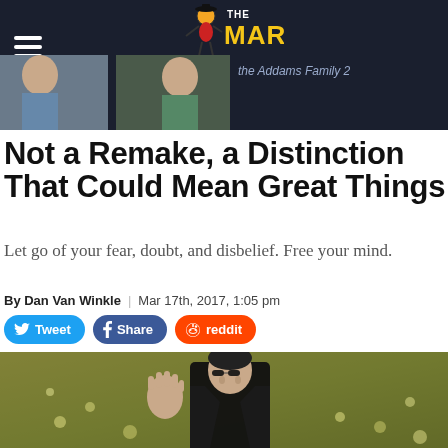THE MARY SUE
the Addams Family 2
Not a Remake, a Distinction That Could Mean Great Things
Let go of your fear, doubt, and disbelief. Free your mind.
By Dan Van Winkle | Mar 17th, 2017, 1:05 pm
[Figure (screenshot): Social sharing buttons: Tweet, Share, reddit]
[Figure (photo): Neo from The Matrix in black coat and sunglasses, hand raised stopping bullets mid-air against a golden-green background]